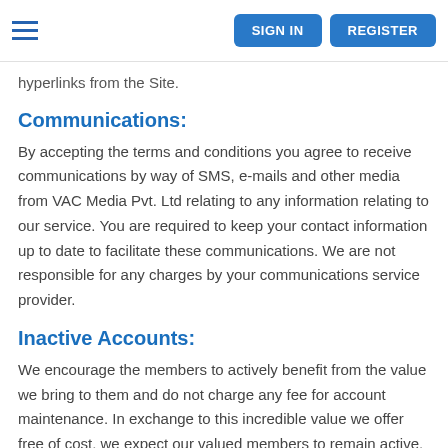SIGN IN  REGISTER
hyperlinks from the Site.
Communications:
By accepting the terms and conditions you agree to receive communications by way of SMS, e-mails and other media from VAC Media Pvt. Ltd relating to any information relating to our service. You are required to keep your contact information up to date to facilitate these communications. We are not responsible for any charges by your communications service provider.
Inactive Accounts:
We encourage the members to actively benefit from the value we bring to them and do not charge any fee for account maintenance. In exchange to this incredible value we offer free of cost, we expect our valued members to remain active. In the event that a member's account remains inactive for an extended period of time, we reserve the right to terminate the account and in which